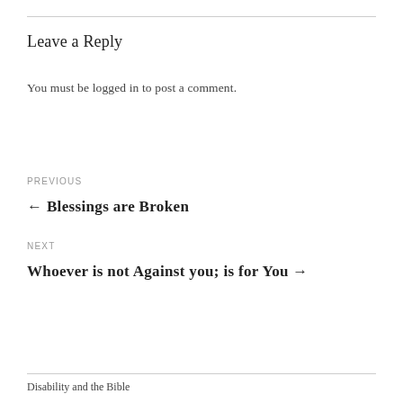Leave a Reply
You must be logged in to post a comment.
PREVIOUS
← Blessings are Broken
NEXT
Whoever is not Against you; is for You →
Disability and the Bible